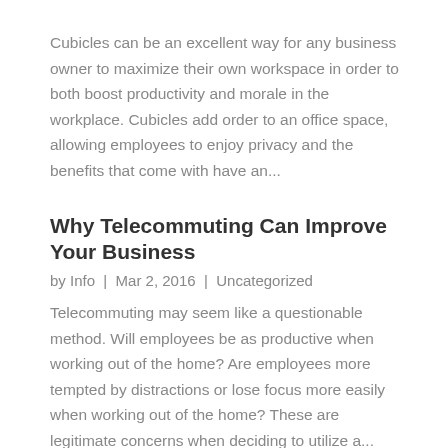Cubicles can be an excellent way for any business owner to maximize their own workspace in order to both boost productivity and morale in the workplace. Cubicles add order to an office space, allowing employees to enjoy privacy and the benefits that come with have an...
Why Telecommuting Can Improve Your Business
by Info  |  Mar 2, 2016  |  Uncategorized
Telecommuting may seem like a questionable method. Will employees be as productive when working out of the home? Are employees more tempted by distractions or lose focus more easily when working out of the home? These are legitimate concerns when deciding to utilize a...